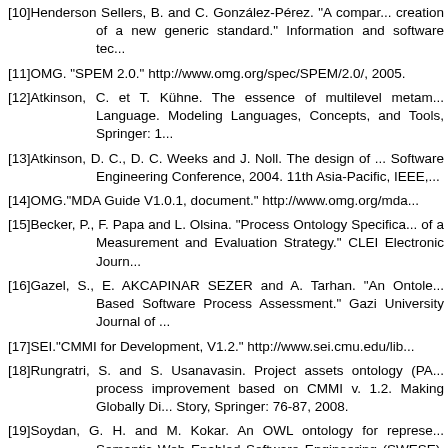[10]Henderson Sellers, B. and C. González-Pérez. "A comparison and creation of a new generic standard." Information and software tec...
[11]OMG. "SPEM 2.0." http://www.omg.org/spec/SPEM/2.0/, 2005.
[12]Atkinson, C. et T. Kühne. The essence of multilevel metamodeling Language. Modeling Languages, Concepts, and Tools, Springer: 1...
[13]Atkinson, D. C., D. C. Weeks and J. Noll. The design of ... Software Engineering Conference, 2004. 11th Asia-Pacific, IEEE,...
[14]OMG."MDA Guide V1.0.1, document." http://www.omg.org/mda...
[15]Becker, P., F. Papa and L. Olsina. "Process Ontology Specifica... of a Measurement and Evaluation Strategy." CLEI Electronic Journ...
[16]Gazel, S., E. AKCAPINAR SEZER and A. Tarhan. "An Ontolo... Based Software Process Assessment." Gazi University Journal of ...
[17]SEI."CMMI for Development, V1.2." http://www.sei.cmu.edu/lib...
[18]Rungratri, S. and S. Usanavasin. Project assets ontology (PA... process improvement based on CMMI v. 1.2. Making Globally Di... Story, Springer: 76-87, 2008.
[19]Soydan, G. H. and M. Kokar. An OWL ontology for represe... Semantic Web Enabled Software Engineering (SWESE), Citeseer...
[20]Lee, C.-S., M.-H. Wang, J.-J. Chen and C.-Y. Hsu. Ontology-... CMMI project monitoring and control. Fuzzy Information Proces... meeting of the North American, IEEE, 2006.
[21]Liao, L., Y. Qu and H. Leung. A software process ontology a...